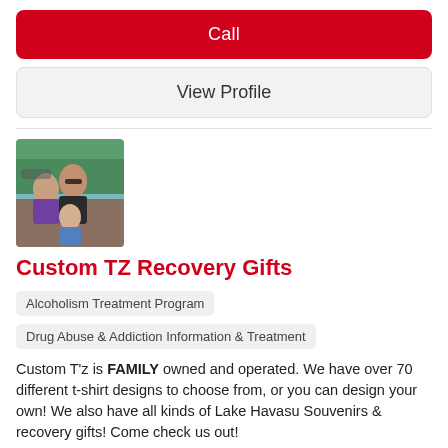Call
View Profile
[Figure (photo): Family photo showing a man, woman, and child outdoors]
Custom TZ Recovery Gifts
Alcoholism Treatment Program
Drug Abuse & Addiction Information & Treatment
Custom T'z is FAMILY owned and operated. We have over 70 different t-shirt designs to choose from, or you can design your own! We also have all kinds of Lake Havasu Souvenirs & recovery gifts! Come check us out!
Address:
2069 McCulloch Blvd N Lake Havasu City, AZ